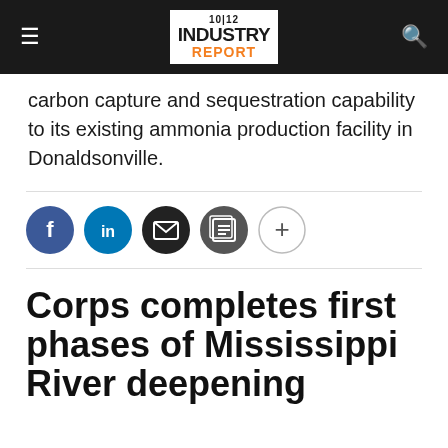10|12 INDUSTRY REPORT
carbon capture and sequestration capability to its existing ammonia production facility in Donaldsonville.
[Figure (other): Social sharing buttons: Facebook, LinkedIn, Email, Print, and a plus button]
Corps completes first phases of Mississippi River deepening